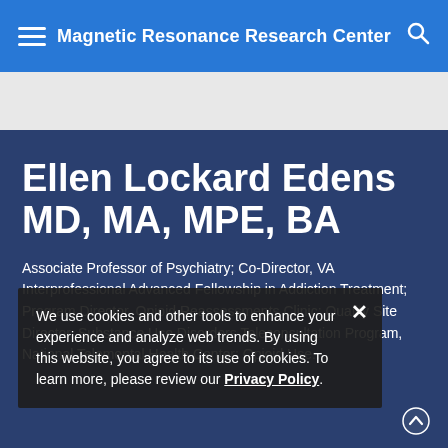Magnetic Resonance Research Center
Ellen Lockard Edens MD, MA, MPE, BA
Associate Professor of Psychiatry; Co-Director, VA Interprofessional Advanced Fellowship in Addiction Treatment; Program Director, Opioid Reassessments Clinic; Quality Site Director, Substance Use Disorders Teleconsultation Program, National Telemental Health Center; Opioid Use...
We use cookies and other tools to enhance your experience and analyze web trends. By using this website, you agree to its use of cookies. To learn more, please review our Privacy Policy.